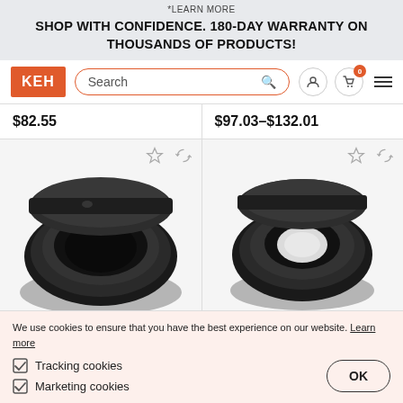*LEARN MORE
SHOP WITH CONFIDENCE. 180-DAY WARRANTY ON THOUSANDS OF PRODUCTS!
[Figure (screenshot): KEH Camera website navigation bar with logo, search box, user icon, cart icon with 0 badge, and hamburger menu]
$82.55
$97.03–$132.01
[Figure (photo): Close-up photo of a black camera lens adapter/mount viewed from the rear, showing circular mount opening]
[Figure (photo): Close-up photo of a black camera lens adapter/mount viewed from the rear, showing circular mount opening]
We use cookies to ensure that you have the best experience on our website. Learn more
Tracking cookies
Marketing cookies